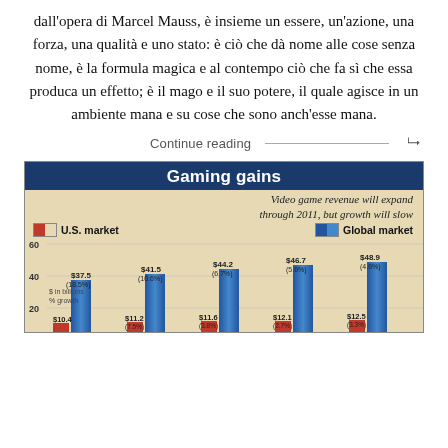dall'opera di Marcel Mauss, è insieme un essere, un'azione, una forza, una qualità e uno stato: è ciò che dà nome alle cose senza nome, è la formula magica e al contempo ciò che fa sì che essa produca un effetto; è il mago e il suo potere, il quale agisce in un ambiente mana e su cose che sono anch'esse mana.
Continue reading
[Figure (grouped-bar-chart): Gaming gains]